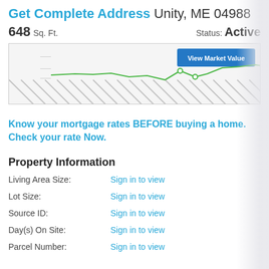Get Complete Address Unity, ME 04988
648 Sq. Ft.   Status: Active
[Figure (line-chart): Partially visible line chart showing market value trend with a green line and a blue 'View Market Value' button overlay. Bottom portion is obscured with diagonal hatching.]
Know your mortgage rates BEFORE buying a home. Check your rate Now.
Property Information
Living Area Size: Sign in to view
Lot Size: Sign in to view
Source ID: Sign in to view
Day(s) On Site: Sign in to view
Parcel Number: Sign in to view